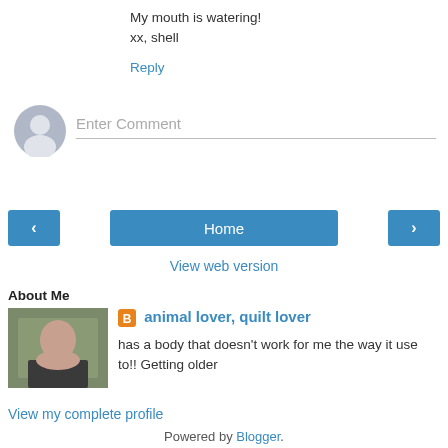My mouth is watering!
xx, shell
Reply
[Figure (other): User avatar circle placeholder icon for comment input]
Enter Comment
‹
Home
›
View web version
About Me
[Figure (photo): Small portrait photo of a woman]
animal lover, quilt lover
has a body that doesn't work for me the way it use to!! Getting older
View my complete profile
Powered by Blogger.